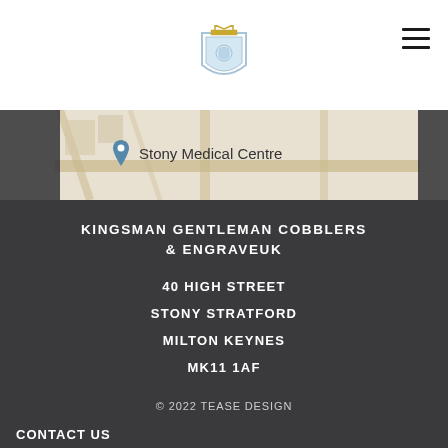[Figure (logo): Kingsman Gentleman Cobblers logo with crown and shield in blue and gold, centered in white header]
[Figure (map): Google Maps screenshot showing Stony Medical Centre location pin with surrounding street map]
KINGSMAN GENTLEMAN COBBLERS & ENGRAVEUK
40 HIGH STREET
STONY STRATFORD
MILTON KEYNES
MK11 1AF
© 2022 TEASE DESIGN
CONTACT US